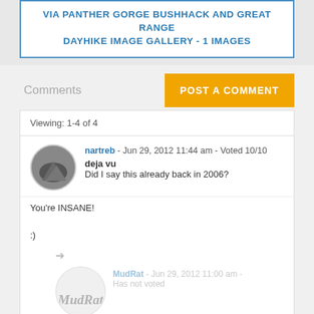VIA PANTHER GORGE BUSHHACK AND GREAT RANGE DAYHIKE IMAGE GALLERY - 1 IMAGES
Comments
POST A COMMENT
Viewing: 1-4 of 4
nartreb - Jun 29, 2012 11:44 am - Voted 10/10
deja vu
Did I say this already back in 2006?

You're INSANE!

:)
MudRat - Jun 29, 2012 11:00 am - Has not voted